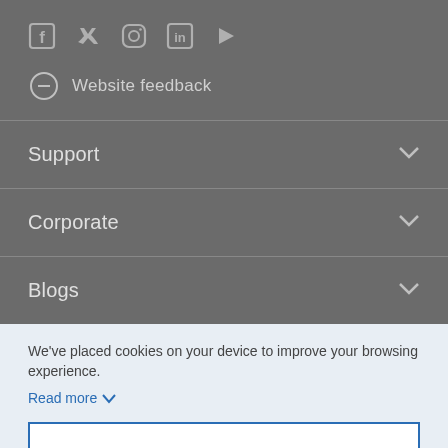[Figure (infographic): Social media icons: Facebook, Twitter, Instagram, LinkedIn, YouTube]
Website feedback
Support
Corporate
Blogs
We've placed cookies on your device to improve your browsing experience.
Read more
I understand